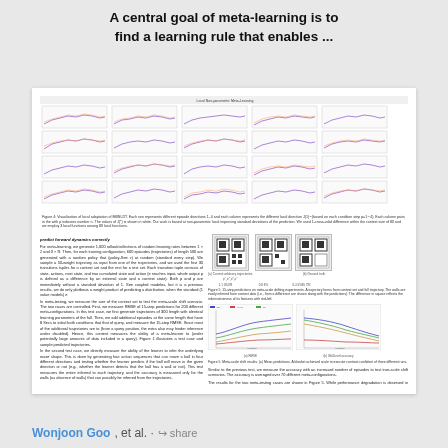A central goal of meta-learning is to find a learning rule that enables ...
[Figure (other): Embedded academic paper page showing figures and text columns about meta-learning, local non-parametric meta-learning, forward dynamics, RMSE and trajectory evaluation]
Wonjoon Goo, et al. · share